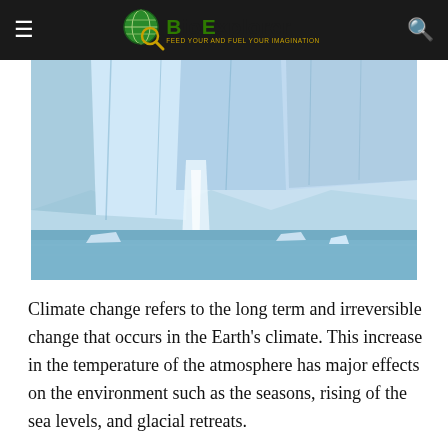BioExplorer — FEED YOUR AND FUEL YOUR IMAGINATION
[Figure (photo): A large glacier calving into a body of water, with ice chunks falling from the glacier face into the sea below, against a blue sky.]
Climate change refers to the long term and irreversible change that occurs in the Earth's climate. This increase in the temperature of the atmosphere has major effects on the environment such as the seasons, rising of the sea levels, and glacial retreats.